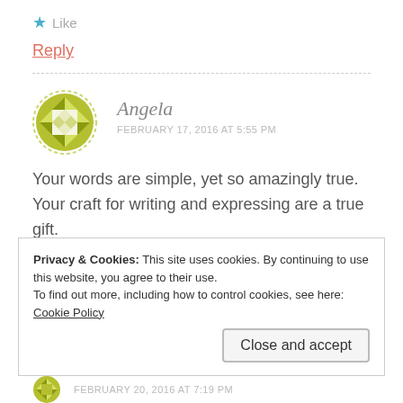★ Like
Reply
Angela
FEBRUARY 17, 2016 AT 5:55 PM
Your words are simple, yet so amazingly true. Your craft for writing and expressing are a true gift.
★ Like
Privacy & Cookies: This site uses cookies. By continuing to use this website, you agree to their use.
To find out more, including how to control cookies, see here: Cookie Policy
Close and accept
FEBRUARY 20, 2016 AT 7:19 PM